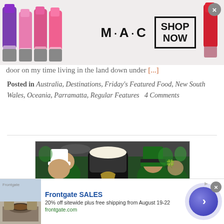[Figure (photo): MAC cosmetics advertisement banner with lipsticks on left, MAC logo in center, and SHOP NOW box on right with a close button]
door on my time living in the land down under [...]
Posted in Australia, Destinations, Friday's Featured Food, New South Wales, Oceania, Parramatta, Regular Features    4 Comments
[Figure (photo): People wearing green Guinness costumes and St. Patrick's Day hats at what appears to be a pub celebration]
[Figure (photo): Frontgate SALES advertisement: 20% off sitewide plus free shipping from August 19-22, frontgate.com, with outdoor furniture image and blue circular arrow button]